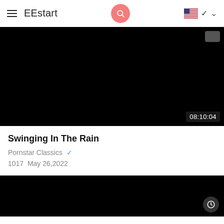EEstart
[Figure (screenshot): Black video thumbnail with duration label 08:10:04 in bottom-right corner]
Swinging In The Rain
Pornstar Classics ✓
1017  May 26,2022
[Figure (screenshot): Black video thumbnail with clock icon in bottom-right corner]